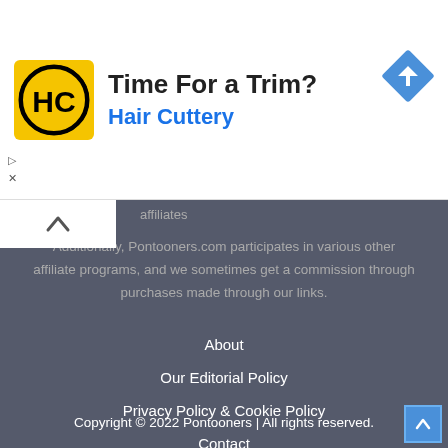[Figure (infographic): Hair Cuttery advertisement banner with logo (HC in black circle on yellow background), headline 'Time For a Trim?', brand name 'Hair Cuttery' in blue, and a navigation/directions diamond icon on the right.]
affiliates
Additionally, Pontooners.com participates in various other affiliate programs, and we sometimes get a commission through purchases made through our links.
About
Our Editorial Policy
Privacy Policy & Cookie Policy
Contact
Copyright © 2022 Pontooners | All rights reserved.